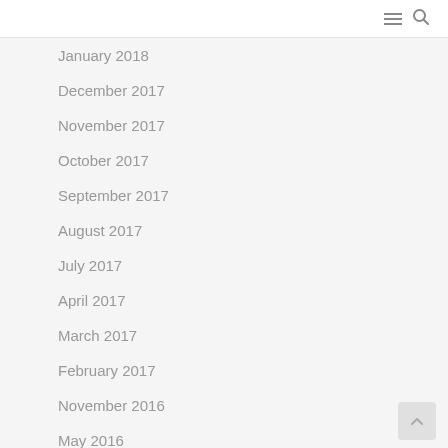January 2018
December 2017
November 2017
October 2017
September 2017
August 2017
July 2017
April 2017
March 2017
February 2017
November 2016
May 2016
April 2016
February 2016
May 2015
March 2015
December 2014
October 2014
September 2014